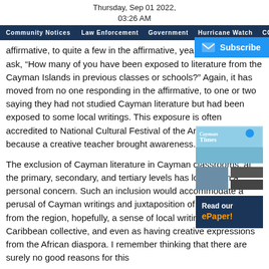Thursday, Sep 01 2022,
03:26 AM
Community Notices  Law Enforcement  Government  Hurricane Watch  CO
affirmative, to quite a few in the affirmative, years. Then I usually ask, “How many of you have been exposed to literature from the Cayman Islands in previous classes or schools?” Again, it has moved from no one responding in the affirmative, to one or two saying they had not studied Cayman literature but had been exposed to some local writings. This exposure is often accredited to National Cultural Festival of the Arts (NCFA) or because a creative teacher brought awareness.
The exclusion of Cayman literature in Cayman classrooms, at the primary, secondary, and tertiary levels has long been a personal concern. Such an inclusion would accommodate a perusal of Cayman writings and juxtaposition of this with writings from the region, hopefully, a sense of local writings as b Caribbean collective, and even as having creative expressions from the African diaspora. I remember thinking that there are surely no good reasons for this